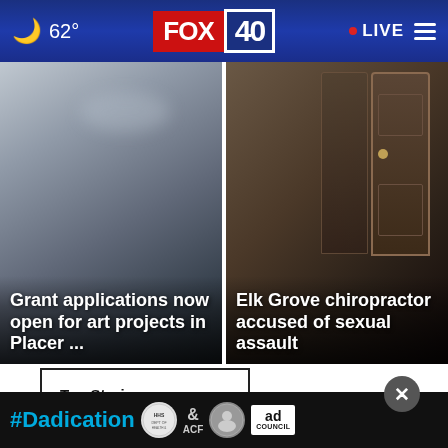62° FOX 40 · LIVE
[Figure (screenshot): News card with blurred gray background — Grant applications now open for art projects in Placer ...]
Grant applications now open for art projects in Placer ...
[Figure (screenshot): News card with dark interior door background — Elk Grove chiropractor accused of sexual assault]
Elk Grove chiropractor accused of sexual assault
Top Stories ›
[Figure (screenshot): Advertisement banner: #Dadication with HHS, ACF, National Responsible Fatherhood Clearinghouse, and Ad Council logos]
#Dadication — Ad Council advertisement